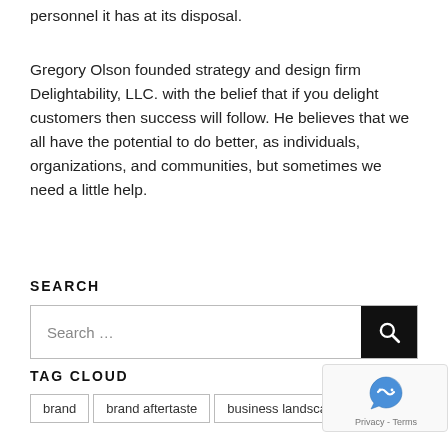personnel it has at its disposal.
Gregory Olson founded strategy and design firm Delightability, LLC. with the belief that if you delight customers then success will follow. He believes that we all have the potential to do better, as individuals, organizations, and communities, but sometimes we need a little help.
SEARCH
Search …
TAG CLOUD
brand
brand aftertaste
business landscape